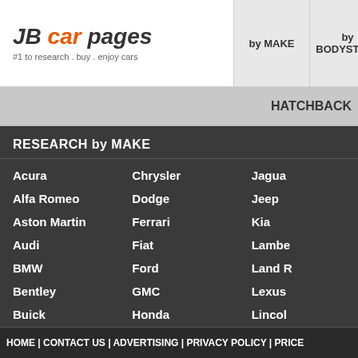JB car pages — #1 to research . buy . enjoy cars
by MAKE | by BODYSTYLE
HATCHBACK
RESEARCH by MAKE
Acura
Chrysler
Jaguar
Alfa Romeo
Dodge
Jeep
Aston Martin
Ferrari
Kia
Audi
Fiat
Lambe…
BMW
Ford
Land R…
Bentley
GMC
Lexus
Buick
Honda
Lincoln
Cadillac
Hyundai
Lotus
Chevrolet
Infiniti
Mazda
HOME | CONTACT US | ADVERTISING | PRIVACY POLICY | PRICE